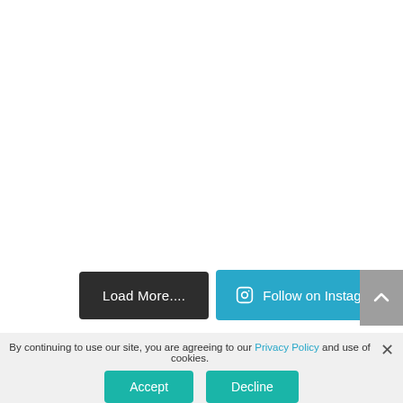[Figure (screenshot): White blank main content area at top of webpage]
Load More...
Follow on Instagram
Copyright © Mandurah Health – Website Developed &
By continuing to use our site, you are agreeing to our Privacy Policy and use of cookies.
Accept
Decline